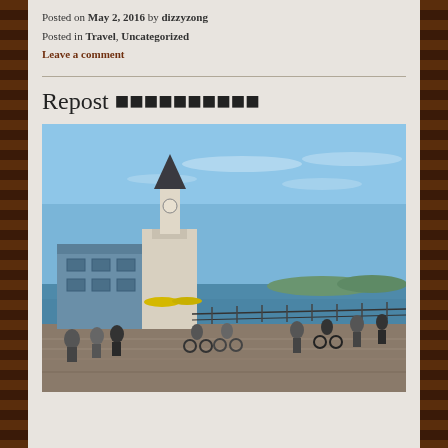Posted on May 2, 2016 by dizzyzong
Posted in Travel, Uncategorized
Leave a comment
Repost 日本語テキスト
[Figure (photo): Waterfront scene with people cycling and walking along a boardwalk promenade beside a body of water. A historic building with a tall clock tower is visible on the left. Blue sky with light clouds above. People on bicycles and on foot are visible in the foreground.]